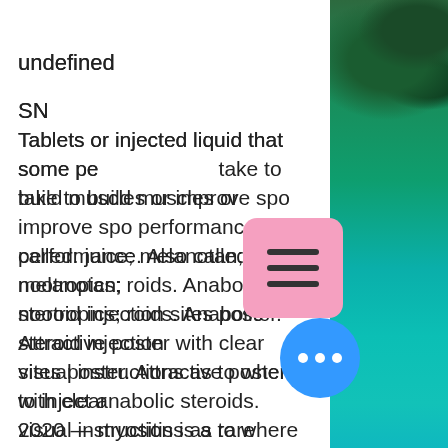undefined
SN
Tablets or injected liquid that some people take to build muscles or improve sports performance. Also called: juice; melanotan; nootropics; roids. Anabolic steroid injection sites poster. Attractive poster with clear visual instructions as to where to inject anabolic steroids. 2020 — myositis is a rare complication of extra-articular anabolic steroid injections, while osteitis has not been reported as an adverse effect. 2ml is the maximum amount of fluid that can safely be injected into the muscle at any one time. Every single piece of equipment used in an injection must be. — anabolic steroids mimic testosterone. Anabolic steroids come in form of pills, injectable liquids, topical gels and creams. — learn about steroid
[Figure (photo): Aerial photo of green forested coastline and turquoise water]
[Figure (other): Pink hamburger/menu button icon]
[Figure (other): Blue circular more/options button with three dots]